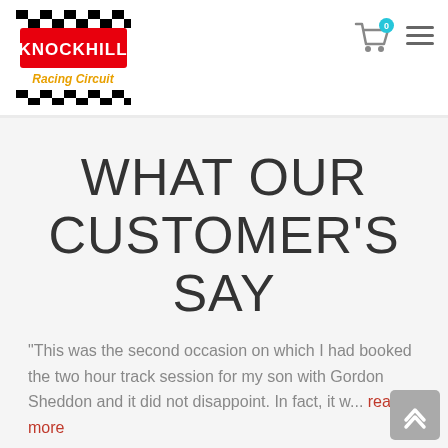Knockhill Racing Circuit
WHAT OUR CUSTOMER'S SAY
"This was the second occasion on which I had booked the two hour track session for my son with Gordon Sheddon and it did not disappoint. In fact, it w... read more